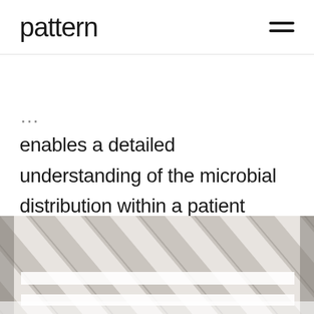pattern
enables a detailed understanding of the microbial distribution within a patient sample, which is critical for diagnosing complex infections.
[Figure (photo): Diagonal striped texture pattern of light and dark bands, resembling a fabric or material close-up shot]